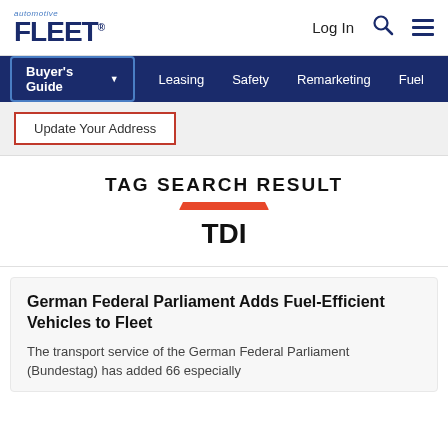[Figure (logo): Automotive Fleet logo - 'automotive' in small italic blue text above 'FLEET' in large bold dark blue text]
Log In  [search icon]  [menu icon]
Buyer's Guide  Leasing  Safety  Remarketing  Fuel
Update Your Address
TAG SEARCH RESULT
TDI
German Federal Parliament Adds Fuel-Efficient Vehicles to Fleet
The transport service of the German Federal Parliament (Bundestag) has added 66 especially